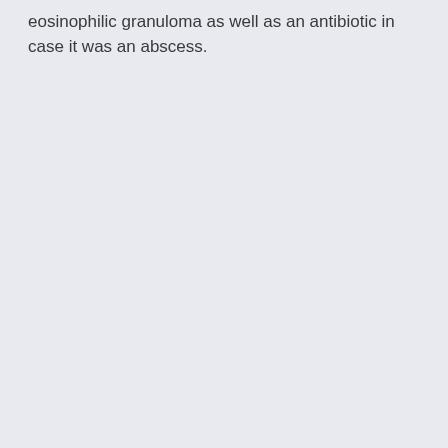eosinophilic granuloma as well as an antibiotic in case it was an abscess.